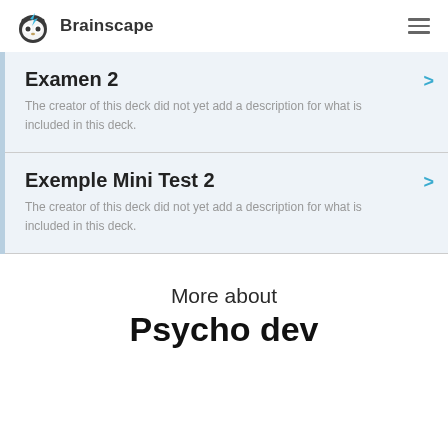Brainscape
Examen 2
The creator of this deck did not yet add a description for what is included in this deck.
Exemple Mini Test 2
The creator of this deck did not yet add a description for what is included in this deck.
More about
Psycho dev